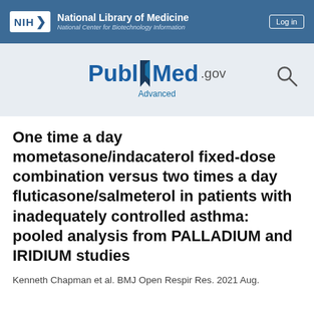[Figure (logo): NIH National Library of Medicine - National Center for Biotechnology Information header bar with Log in button]
[Figure (logo): PubMed.gov logo with search icon and Advanced link on grey background]
One time a day mometasone/indacaterol fixed-dose combination versus two times a day fluticasone/salmeterol in patients with inadequately controlled asthma: pooled analysis from PALLADIUM and IRIDIUM studies
Kenneth Chapman et al. BMJ Open Respir Res. 2021 Aug.